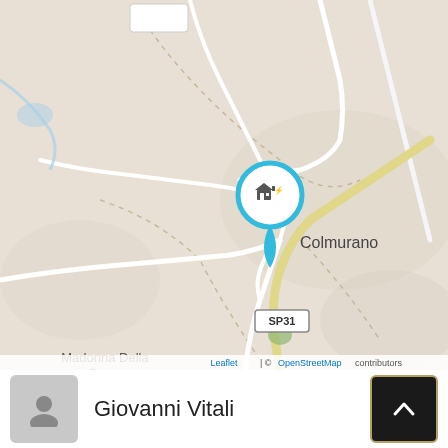[Figure (map): OpenStreetMap tile showing the area around Colmurano, Italy. A blue location pin with a house/building icon marks the town center labeled 'Colmurano'. White roads wind through a beige/tan landscape. A yellow road runs diagonally. 'Madonna Della Croce' is labeled to the lower left. A road sign reads 'SP31' near the bottom center. Attribution reads 'Leaflet | © OpenStreetMap contributors' at the bottom.]
Giovanni Vitali